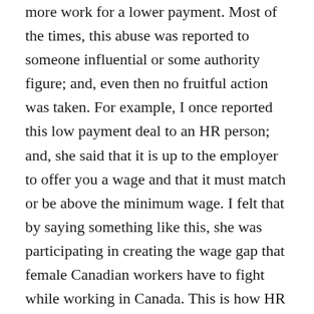more work for a lower payment. Most of the times, this abuse was reported to someone influential or some authority figure; and, even then no fruitful action was taken. For example, I once reported this low payment deal to an HR person; and, she said that it is up to the employer to offer you a wage and that it must match or be above the minimum wage. I felt that by saying something like this, she was participating in creating the wage gap that female Canadian workers have to fight while working in Canada. This is how HR personnel are breaking down the real story into smaller unrealistic fragments and then feeding it back to the victims. Truth is that some of them are unaware of the wage gap and that is why they just sit there and justify things instead. I feel that if I tell some trustworthy people about what is going